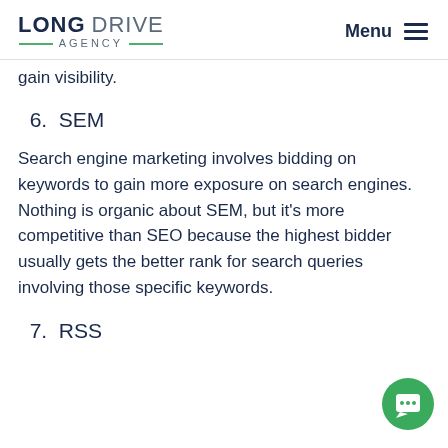LONG DRIVE AGENCY | Menu
gain visibility.
6. SEM
Search engine marketing involves bidding on keywords to gain more exposure on search engines. Nothing is organic about SEM, but it’s more competitive than SEO because the highest bidder usually gets the better rank for search queries involving those specific keywords.
7. RSS